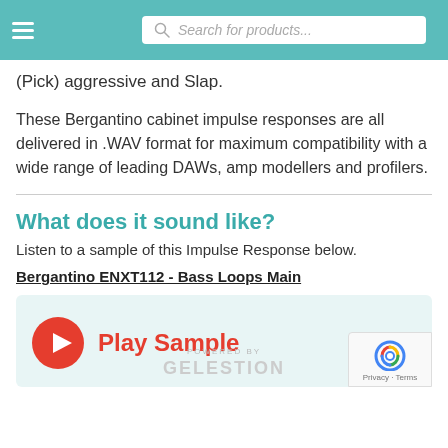Search for products...
(Pick) aggressive and Slap.
These Bergantino cabinet impulse responses are all delivered in .WAV format for maximum compatibility with a wide range of leading DAWs, amp modellers and profilers.
What does it sound like?
Listen to a sample of this Impulse Response below.
Bergantino ENXT112 - Bass Loops Main
[Figure (other): Audio player widget with a red play button circle and 'Play Sample' text in red, with Celestion powered by branding and SoundCloud waveform logo at the bottom. A reCAPTCHA badge appears in the bottom right corner.]